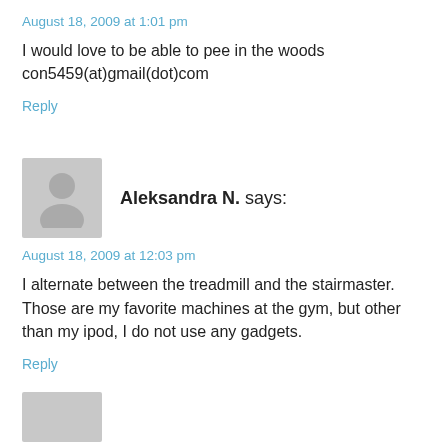August 18, 2009 at 1:01 pm
I would love to be able to pee in the woods con5459(at)gmail(dot)com
Reply
[Figure (illustration): Generic user avatar placeholder (grey silhouette on grey background)]
Aleksandra N. says:
August 18, 2009 at 12:03 pm
I alternate between the treadmill and the stairmaster. Those are my favorite machines at the gym, but other than my ipod, I do not use any gadgets.
Reply